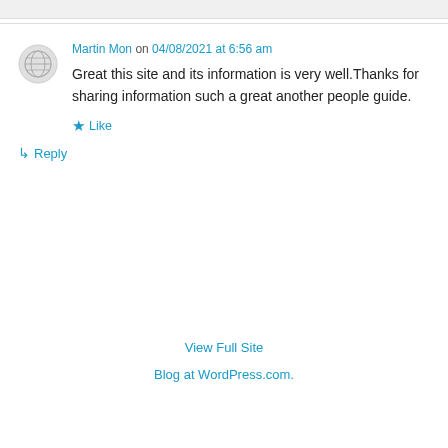Martin Mon on 04/08/2021 at 6:56 am
Great this site and its information is very well.Thanks for sharing information such a great another people guide.
★ Like
↳ Reply
View Full Site
Blog at WordPress.com.